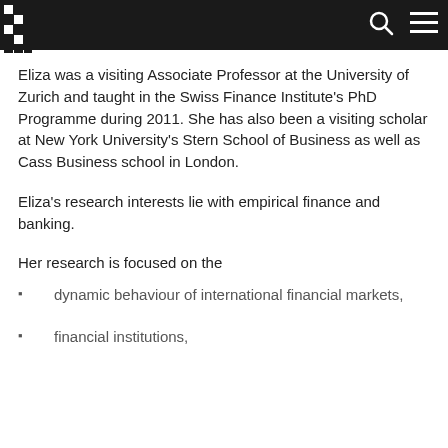[Navigation bar with logo, search and menu icons]
Eliza was a visiting Associate Professor at the University of Zurich and taught in the Swiss Finance Institute's PhD Programme during 2011. She has also been a visiting scholar at New York University's Stern School of Business as well as Cass Business school in London.
Eliza's research interests lie with empirical finance and banking.
Her research is focused on the
dynamic behaviour of international financial markets,
financial institutions,